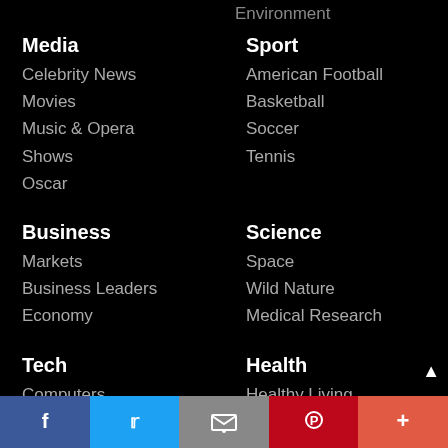Environment
Media
Celebrity News
Movies
Music & Opera
Shows
Oscar
Sport
American Football
Basketball
Soccer
Tennis
Business
Markets
Business Leaders
Economy
Science
Space
Wild Nature
Medical Research
Tech
Computers
Video Games
Social Media
Health
Healthy Living
Mental Health
Cancer
Nutrition & Fitness
[Figure (screenshot): Social sharing bottom bar with Facebook, Twitter, Email, Pinterest, and More buttons]